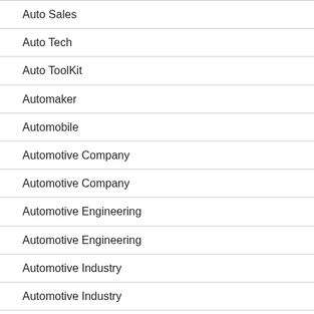Auto Sales
Auto Tech
Auto ToolKit
Automaker
Automobile
Automotive Company
Automotive Company
Automotive Engineering
Automotive Engineering
Automotive Industry
Automotive Industry
Automotive Solution